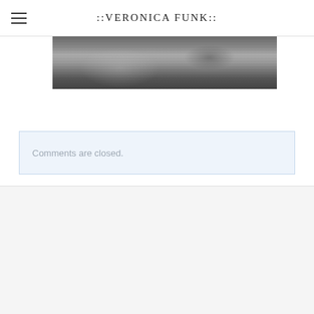::VERONICA FUNK::
[Figure (photo): Black and white photograph strip showing a partial portrait, bottom portion visible with dark and light tones]
Comments are closed.